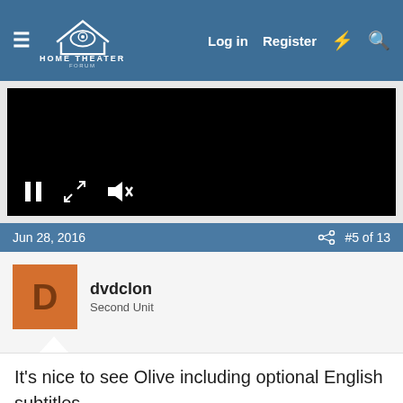[Figure (screenshot): Home Theater Forum navigation bar with hamburger menu, logo, Log in, Register, lightning bolt, and search icons on blue background]
[Figure (screenshot): Black video player with pause, expand, and mute controls visible]
Jun 28, 2016    #5 of 13
[Figure (screenshot): User avatar: orange square with letter D]
dvdclon
Second Unit
It's nice to see Olive including optional English subtitles.
Jun 28, 2016    #6 of 13
[Figure (photo): Todd J Moore avatar photo - dark image of person]
Todd J Moore
Supporting Actor
Well, looks like I'll be getting Commando Cody...